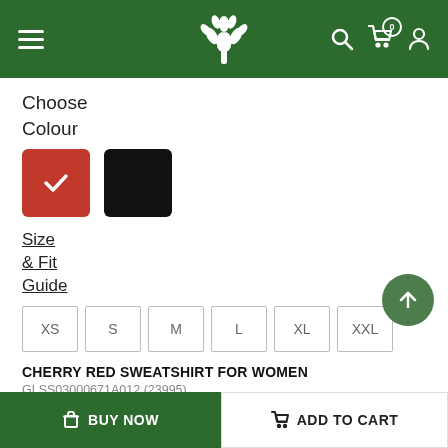Navigation header with hamburger menu, tree logo, search, cart (0), and profile icons
Choose Colour
[Figure (illustration): Two colour swatches: cherry red (selected with checkmark) and black]
Size & Fit Guide
XS  S  M  L  XL  XXL
CHERRY RED SWEATSHIRT FOR WOMEN
GLSS03000671A012 (23995)
₹2 796  MRP 3 995  (30% OFF)
BUY NOW   ADD TO CART